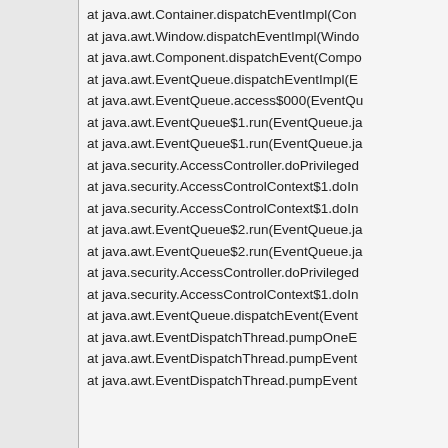at java.awt.Container.dispatchEventImpl(Con
at java.awt.Window.dispatchEventImpl(Windo
at java.awt.Component.dispatchEvent(Compo
at java.awt.EventQueue.dispatchEventImpl(E
at java.awt.EventQueue.access$000(EventQu
at java.awt.EventQueue$1.run(EventQueue.ja
at java.awt.EventQueue$1.run(EventQueue.ja
at java.security.AccessController.doPrivileged
at java.security.AccessControlContext$1.doIn
at java.security.AccessControlContext$1.doIn
at java.awt.EventQueue$2.run(EventQueue.ja
at java.awt.EventQueue$2.run(EventQueue.ja
at java.security.AccessController.doPrivileged
at java.security.AccessControlContext$1.doIn
at java.awt.EventQueue.dispatchEvent(Event
at java.awt.EventDispatchThread.pumpOneE
at java.awt.EventDispatchThread.pumpEvent
at java.awt.EventDispatchThread.pumpEvent